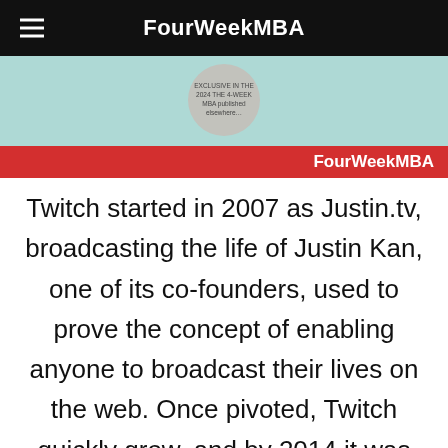FourWeekMBA
[Figure (illustration): Partial image strip with teal background and circular graphic element with small text]
FourWeekMBA
Twitch started in 2007 as Justin.tv, broadcasting the life of Justin Kan, one of its co-founders, used to prove the concept of enabling anyone to broadcast their lives on the web. Once pivoted, Twitch quickly grew, and by 2014 it was acquired by Amazon for almost a billion dollars.